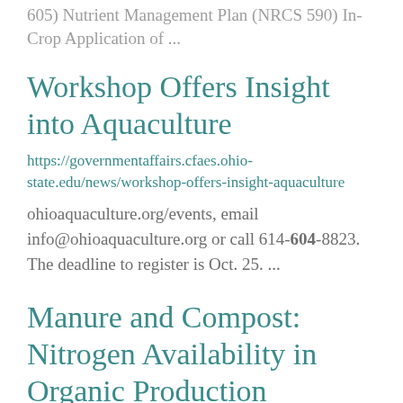605) Nutrient Management Plan (NRCS 590) In-Crop Application of ...
Workshop Offers Insight into Aquaculture
https://governmentaffairs.cfaes.ohio-state.edu/news/workshop-offers-insight-aquaculture
ohioaquaculture.org/events, email info@ohioaquaculture.org or call 614-604-8823. The deadline to register is Oct. 25. ...
Manure and Compost: Nitrogen Availability in Organic Production
https://ohioline.osu.edu/factsheet/anr-34
Ohio State University Bulletin 604. Stor...